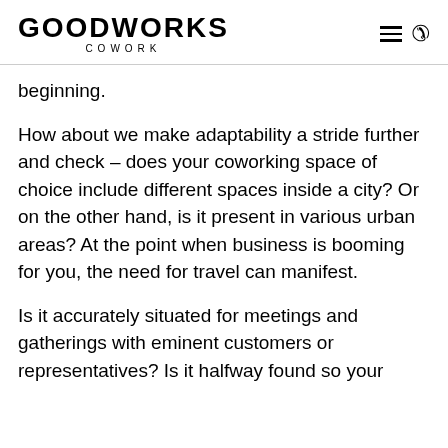GOODWORKS COWORK
beginning.
How about we make adaptability a stride further and check – does your coworking space of choice include different spaces inside a city? Or on the other hand, is it present in various urban areas? At the point when business is booming for you, the need for travel can manifest.
Is it accurately situated for meetings and gatherings with eminent customers or representatives? Is it halfway found so your